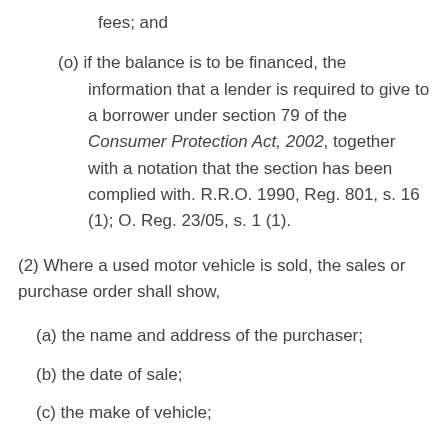fees; and
(o) if the balance is to be financed, the information that a lender is required to give to a borrower under section 79 of the Consumer Protection Act, 2002, together with a notation that the section has been complied with. R.R.O. 1990, Reg. 801, s. 16 (1); O. Reg. 23/05, s. 1 (1).
(2) Where a used motor vehicle is sold, the sales or purchase order shall show,
(a) the name and address of the purchaser;
(b) the date of sale;
(c) the make of vehicle;